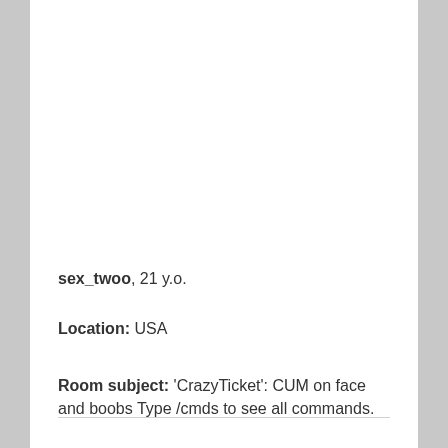sex_twoo, 21 y.o.
Location: USA
Room subject: 'CrazyTicket': CUM on face and boobs Type /cmds to see all commands.